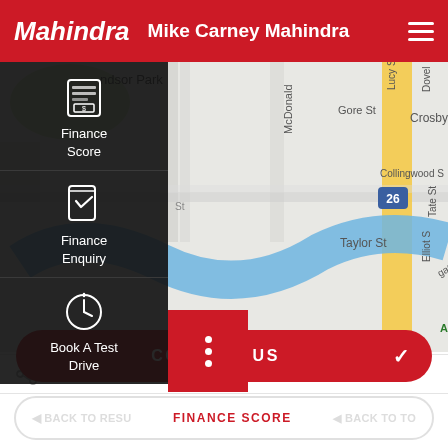Mahindra   Mike Carney Mahindra
[Figure (map): Street map showing Windsor Park area with McDonald, Mill St, Gore St, Crosby Rd, Taylor St, Collingwood St, Elliot St, Tate St, Allan B visible. A blue river curves through the center and a yellow road runs vertically on the right.]
Finance Score
Finance Enquiry
Book A Test Drive
SHARE
CONTACT US
BACK TO RESULTS   FINANCE SCORE   BACK TO TOP